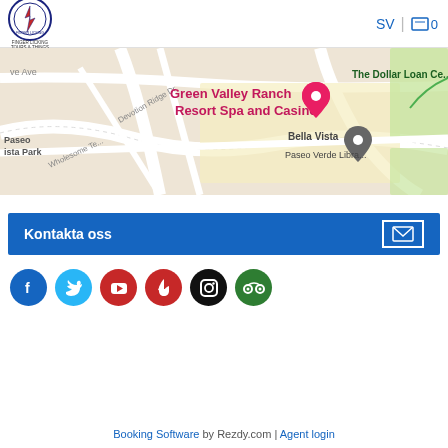FINGER LICKING TOURS & THINGS | SV | 0
[Figure (map): Google Maps view showing Green Valley Ranch Resort Spa and Casino, The Dollar Loan Center, Bella Vista, Paseo Verde Library, Devotion Ridge Dr, Wholesome Ter, Paseo Vista Park]
Kontakta oss
[Figure (infographic): Social media icons: Facebook (blue), Twitter (light blue), YouTube (red), Yelp (red), Instagram (black), TripAdvisor (green)]
Booking Software by Rezdy.com | Agent login